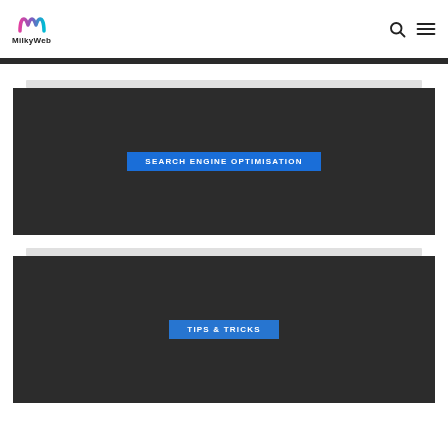MilkyWeb
[Figure (screenshot): Dark card with blue button labeled SEARCH ENGINE OPTIMISATION]
[Figure (screenshot): Dark card with blue button labeled TIPS & TRICKS]